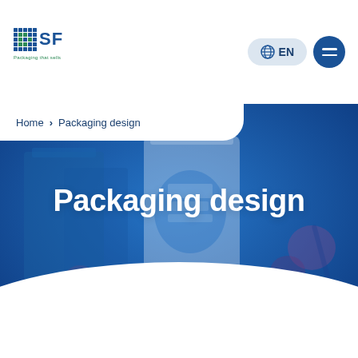[Figure (logo): SFA logo with dot-grid pattern on left and 'SFA' text in blue, tagline 'Packaging that sells' in green below]
EN
[Figure (photo): Blue-tinted hero photo showing packaging products including a 'BIO Yoghurt Griekse' container, surrounded by berries and fruit on a blue background, overlaid with a white ellipse at bottom]
Home › Packaging design
Packaging design